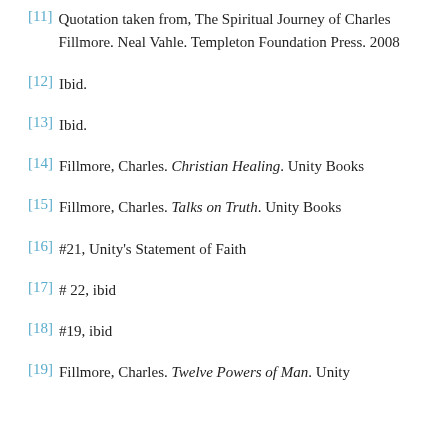[11] Quotation taken from, The Spiritual Journey of Charles Fillmore. Neal Vahle. Templeton Foundation Press. 2008
[12] Ibid.
[13] Ibid.
[14] Fillmore, Charles. Christian Healing. Unity Books
[15] Fillmore, Charles. Talks on Truth. Unity Books
[16] #21, Unity's Statement of Faith
[17] # 22, ibid
[18] #19, ibid
[19] Fillmore, Charles. Twelve Powers of Man. Unity